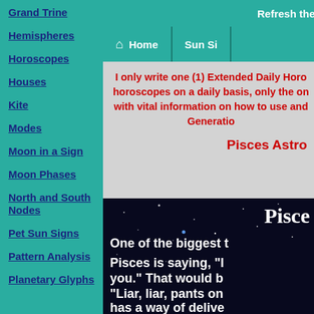Grand Trine
Hemispheres
Horoscopes
Houses
Kite
Modes
Moon in a Sign
Moon Phases
North and South Nodes
Pet Sun Signs
Pattern Analysis
Planetary Glyphs
Refresh the page to s...
Home | Sun Si...
I only write one (1) Extended Daily Horo... horoscopes on a daily basis, only the on... with vital information on how to use and... Generatio...
Pisces Astro...
[Figure (photo): Dark space/starfield background with white bold text about Pisces. Text reads: 'Pisce...' as title and 'One of the biggest t... Pisces is saying, "I... you." That would b... "Liar, liar, pants on ... has a way of delive...']